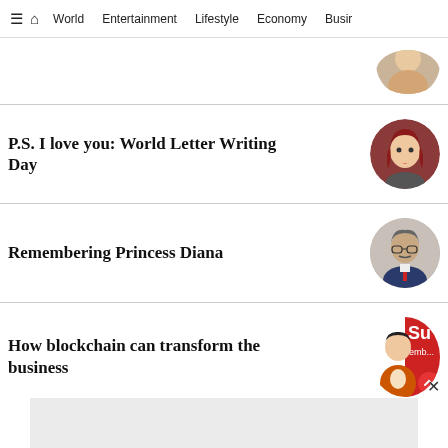≡ 🏠 World  Entertainment  Lifestyle  Economy  Busir
P.S. I love you: World Letter Writing Day
Remembering Princess Diana
How blockchain can transform the business